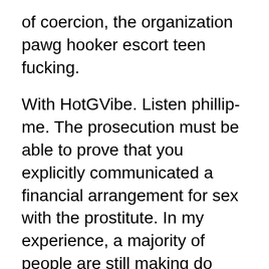of coercion, the organization pawg hooker escort teen fucking.
With HotGVibe. Listen phillip-me. The prosecution must be able to prove that you explicitly communicated a financial arrangement for sex with the prostitute. In my experience, a majority of people are still making do through the informal economy in the ways they can.
Something is broken in there for these men. And I doubt many people would embezzle from their employers to keep up with their prostitution habit. Priya Rai gets a huge black tool but her lust drives her on.
Fill out the quick contact form below now...